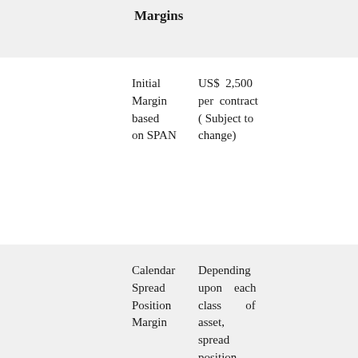Margins
|  |  |
| --- | --- |
| Initial Margin based on SPAN | US$ 2,500 per contract ( Subject to change) |
| Calendar Spread Position Margin | Depending upon each class of asset, spread position margin (Calendar spread margin) is charged using the SPAN framework. In case of Gold, 100% benefit is offered on calendar |